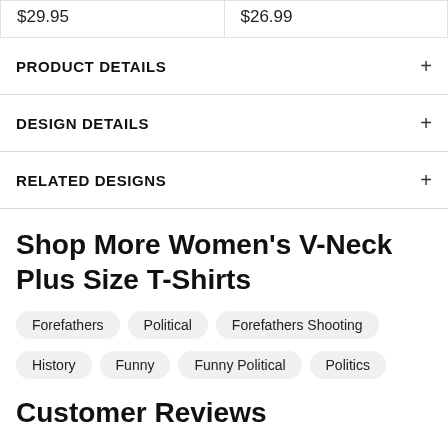$29.95
$26.99
PRODUCT DETAILS
DESIGN DETAILS
RELATED DESIGNS
Shop More Women's V-Neck Plus Size T-Shirts
Forefathers
Political
Forefathers Shooting
History
Funny
Funny Political
Politics
Customer Reviews